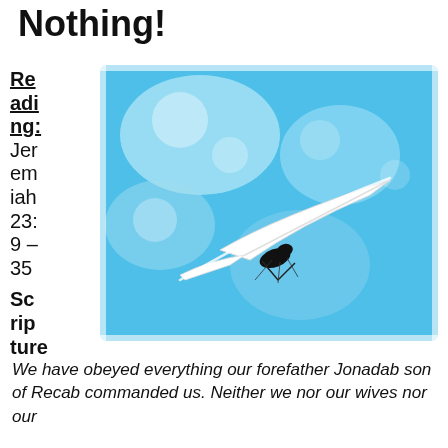Nothing!
Reading: Jeremiah 23:9 – 35
[Figure (photo): A hang glider soaring against a bright blue sky with soft bokeh light spots]
Scripture
We have obeyed everything our forefather Jonadab son of Recab commanded us. Neither we nor our wives nor our